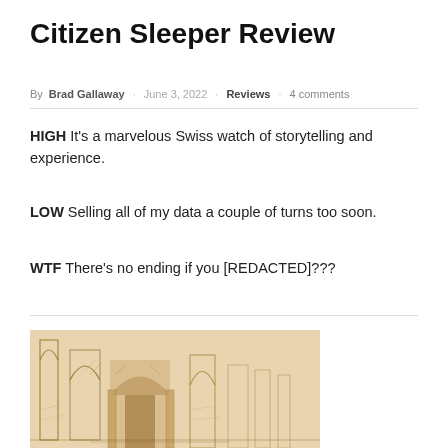Citizen Sleeper Review
By Brad Gallaway · June 3, 2022 · Reviews · 4 comments
HIGH It's a marvelous Swiss watch of storytelling and experience.
LOW Selling all of my data a couple of turns too soon.
WTF There's no ending if you [REDACTED]???
[Figure (illustration): Sketch/pencil illustration of an architectural interior with arched doorways and columns, rendered in sepia/brown tones.]